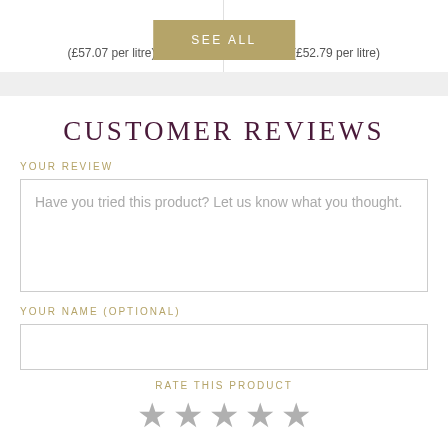(£57.07 per litre)
(£52.79 per litre)
SEE ALL
CUSTOMER REVIEWS
YOUR REVIEW
Have you tried this product? Let us know what you thought.
YOUR NAME (OPTIONAL)
RATE THIS PRODUCT